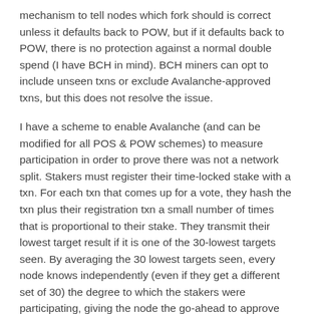mechanism to tell nodes which fork should is correct unless it defaults back to POW, but if it defaults back to POW, there is no protection against a normal double spend (I have BCH in mind). BCH miners can opt to include unseen txns or exclude Avalanche-approved txns, but this does not resolve the issue.
I have a scheme to enable Avalanche (and can be modified for all POS & POW schemes) to measure participation in order to prove there was not a network split. Stakers must register their time-locked stake with a txn. For each txn that comes up for a vote, they hash the txn plus their registration txn a small number of times that is proportional to their stake. They transmit their lowest target result if it is one of the 30-lowest targets seen. By averaging the 30 lowest targets seen, every node knows independently (even if they get a different set of 30) the degree to which the stakers were participating, giving the node the go-ahead to approve the txn vote and requiring miners not to select a different txn. An attack would require a 51% majority on stake and POW. But